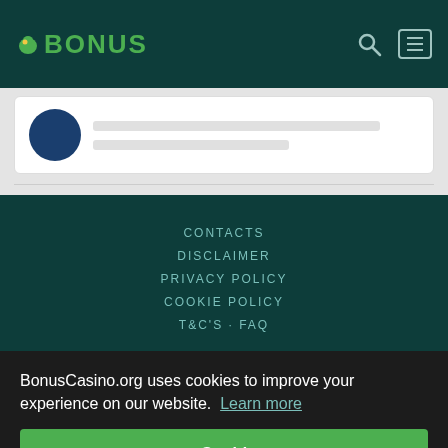BONUS
[Figure (screenshot): Card with blue circle avatar and placeholder lines]
CONTACTS
DISCLAIMER
PRIVACY POLICY
COOKIE POLICY
T&C'S · FAQ
BonusCasino.org uses cookies to improve your experience on our website. Learn more
Got it!
[Figure (illustration): Social media icons: Facebook, Twitter, and another platform in circular brackets]